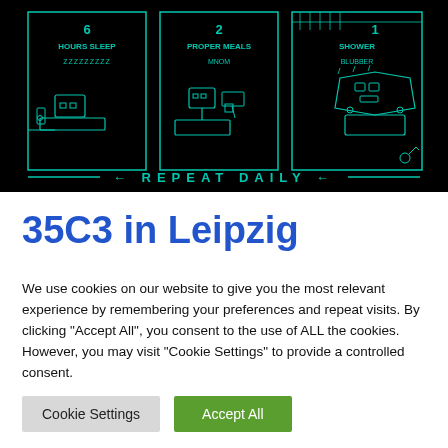[Figure (illustration): Dark/black background infographic showing three panels: '6 HOURS SLEEP' with ZZZZZZZZZ and a robot sleeping, '2 PROPER MEALS' with MNOM and a robot eating, '1 SHOWER' with BLUBBER and a robot showering. Bottom text reads '← REPEAT DAILY ←' in teal/cyan color. All illustrations in teal outline style.]
35C3 in Leipzig
We use cookies on our website to give you the most relevant experience by remembering your preferences and repeat visits. By clicking "Accept All", you consent to the use of ALL the cookies. However, you may visit "Cookie Settings" to provide a controlled consent.